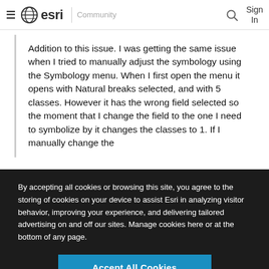esri Community
Addition to this issue. I was getting the same issue when I tried to manually adjust the symbology using the Symbology menu. When I first open the menu it opens with Natural breaks selected, and with 5 classes. However it has the wrong field selected so the moment that I change the field to the one I need to symbolize by it changes the classes to 1. If I manually change the
By accepting all cookies or browsing this site, you agree to the storing of cookies on your device to assist Esri in analyzing visitor behavior, improving your experience, and delivering tailored advertising on and off our sites. Manage cookies here or at the bottom of any page.
Accept All Cookies
Cookies Settings